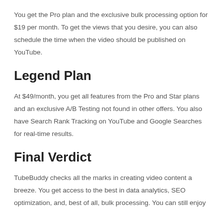You get the Pro plan and the exclusive bulk processing option for $19 per month. To get the views that you desire, you can also schedule the time when the video should be published on YouTube.
Legend Plan
At $49/month, you get all features from the Pro and Star plans and an exclusive A/B Testing not found in other offers. You also have Search Rank Tracking on YouTube and Google Searches for real-time results.
Final Verdict
TubeBuddy checks all the marks in creating video content a breeze. You get access to the best in data analytics, SEO optimization, and, best of all, bulk processing. You can still enjoy